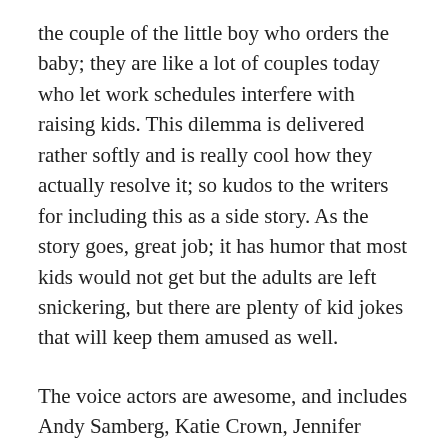the couple of the little boy who orders the baby; they are like a lot of couples today who let work schedules interfere with raising kids. This dilemma is delivered rather softly and is really cool how they actually resolve it; so kudos to the writers for including this as a side story. As the story goes, great job; it has humor that most kids would not get but the adults are left snickering, but there are plenty of kid jokes that will keep them amused as well.
The voice actors are awesome, and includes Andy Samberg, Katie Crown, Jennifer Aniston, Kelsey Grammer, Ty Burrell, Keegan-Michael Keel, Jordan Peele, and Danny Trejo; all do an awesome job. The animation is also fantastic and beautifully done. Take a Saturday, and take the kids to see STORKS, you will